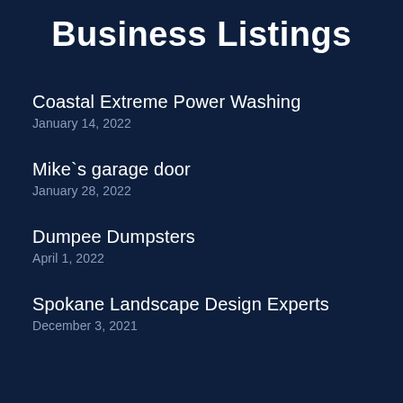Business Listings
Coastal Extreme Power Washing
January 14, 2022
Mike`s garage door
January 28, 2022
Dumpee Dumpsters
April 1, 2022
Spokane Landscape Design Experts
December 3, 2021